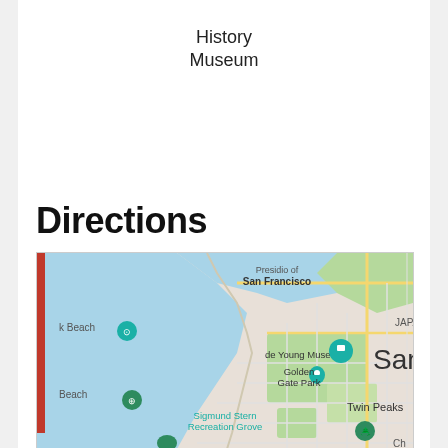History
Museum
Directions
[Figure (map): Google Maps screenshot showing San Francisco area including Golden Gate Park, de Young Museum, Presidio of San Francisco, Japantown, Twin Peaks, Sigmund Stern Recreation Grove, and Ocean Beach areas. A teal location pin is visible over de Young Museum / Golden Gate Park area. A red vertical bar appears on the left edge of the map.]